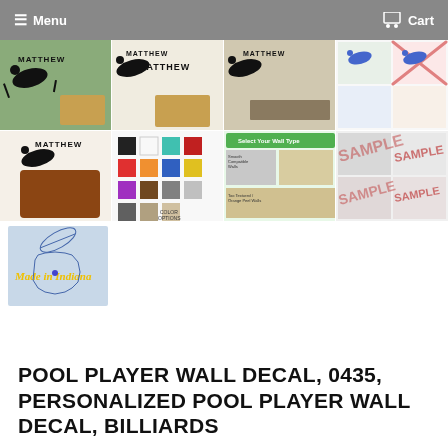Menu  Cart
[Figure (photo): Product image gallery showing pool player wall decal in various colors and settings - 9 thumbnail images in a 4x3 grid including room mockups, color swatches, wall type selector, sample overlays, and Made in Indiana badge]
POOL PLAYER WALL DECAL, 0435, PERSONALIZED POOL PLAYER WALL DECAL, BILLIARDS